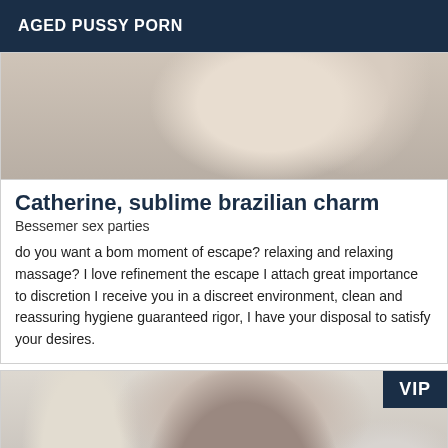AGED PUSSY PORN
[Figure (photo): Blurred close-up photo of a person, warm beige and tan tones]
Catherine, sublime brazilian charm
Bessemer sex parties
do you want a bom moment of escape? relaxing and relaxing massage? I love refinement the escape I attach great importance to discretion I receive you in a discreet environment, clean and reassuring hygiene guaranteed rigor, I have your disposal to satisfy your desires.
[Figure (photo): Photo of a woman with dark hair, facing camera, in a light-colored room. VIP badge in top-right corner.]